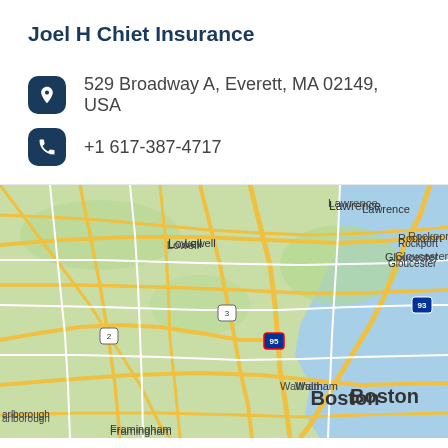Joel H Chiet Insurance
529 Broadway A, Everett, MA 02149, USA
+1 617-387-4717
[Figure (map): Google Maps view of the Boston, MA area showing Lawrence, Lowell, Rockport, Gloucester, Danvers, Salem, Waltham, Boston, Framingham, Marlborough, and major highways including I-93, I-95, Route 3, and Route 2.]